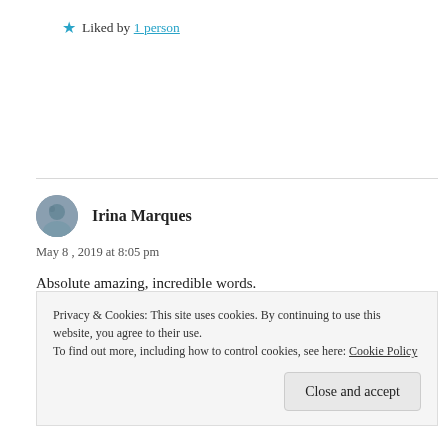★ Liked by 1 person
Irina Marques
May 8, 2019 at 8:05 pm
Absolute amazing, incredible words.
I could image all the path brought by your poetry.
Privacy & Cookies: This site uses cookies. By continuing to use this website, you agree to their use.
To find out more, including how to control cookies, see here: Cookie Policy
Close and accept